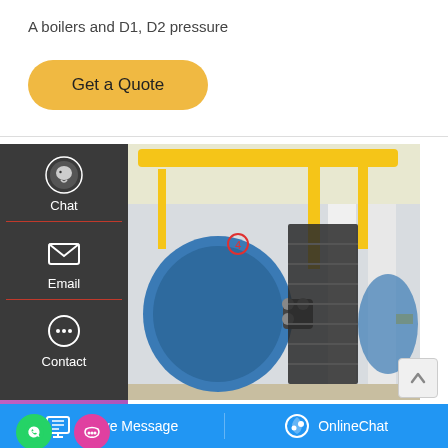A boilers and D1, D2 pressure
Get a Quote
[Figure (screenshot): Industrial boiler room with large blue cylindrical boilers, yellow pipes and structural supports, black metal staircase, white columns, concrete floor]
Chat
Email
Contact
Save Stickers on WhatsApp
boiler-water-
Leave Message
OnlineChat